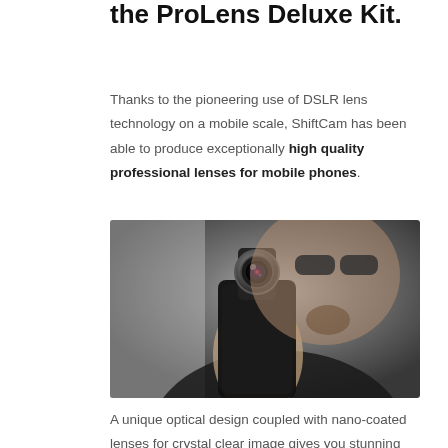the ProLens Deluxe Kit.
Thanks to the pioneering use of DSLR lens technology on a mobile scale, ShiftCam has been able to produce exceptionally high quality professional lenses for mobile phones.
[Figure (photo): A man wearing sunglasses and a black t-shirt holds up a smartphone with a ProLens camera lens attachment toward the camera, smiling.]
A unique optical design coupled with nano-coated lenses for crystal clear image gives you stunning colors and